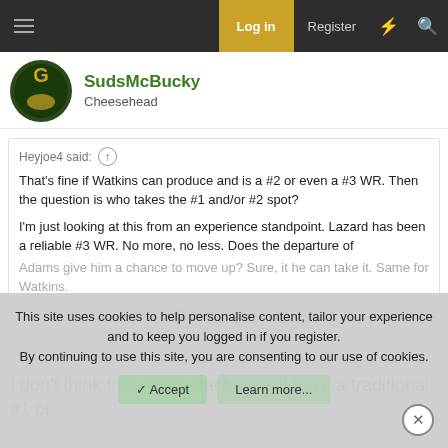Log in | Register
SudsMcBucky
Cheesehead
Heyjoe4 said: ↑
That's fine if Watkins can produce and is a #2 or even a #3 WR. Then the question is who takes the #1 and/or #2 spot?
I'm just looking at this from an experience standpoint. Lazard has been a reliable #3 WR. No more, no less. Does the departure of Adams give him a chance to move up? Sure, it he can take it. Same for Watkins.
Click to expand...
I don't think this year's Packers will have a traditional #1 or
This site uses cookies to help personalise content, tailor your experience and to keep you logged in if you register.
By continuing to use this site, you are consenting to our use of cookies.
Accept | Learn more...